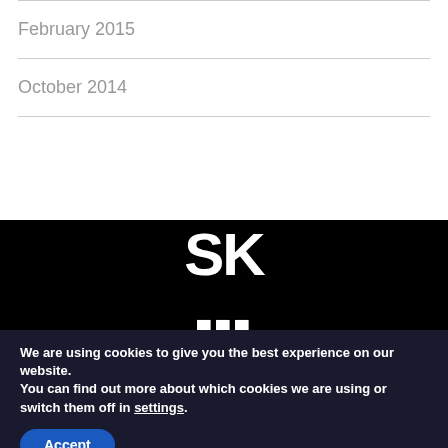February 2015
October 2014
[Figure (logo): SK logo in white text on black background]
We are using cookies to give you the best experience on our website.
You can find out more about which cookies we are using or switch them off in settings.
Accept